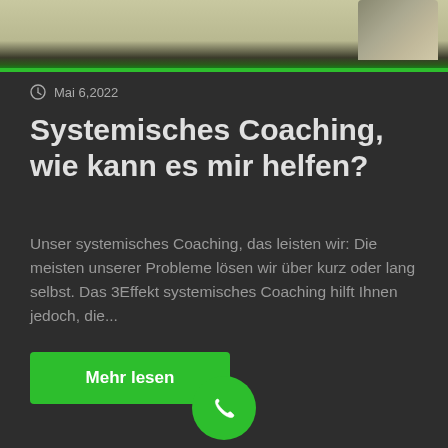[Figure (photo): Partial top image showing a textured stone/concrete surface with a dark green separator bar at the bottom]
Mai 6, 2022
Systemisches Coaching, wie kann es mir helfen?
Unser systemisches Coaching, das leisten wir: Die meisten unserer Probleme lösen wir über kurz oder lang selbst. Das 3Effekt systemisches Coaching hilft Ihnen jedoch, die...
Mehr lesen